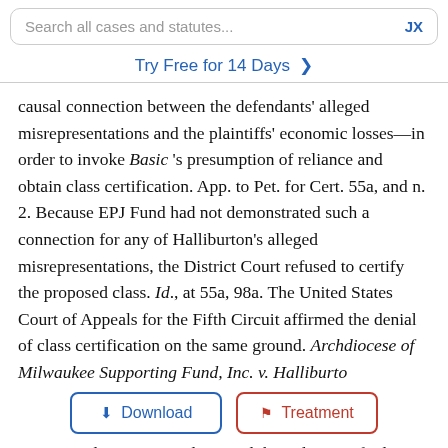Search all cases and statutes... JX
Try Free for 14 Days >
causal connection between the defendants' alleged misrepresentations and the plaintiffs' economic losses—in order to invoke Basic 's presumption of reliance and obtain class certification. App. to Pet. for Cert. 55a, and n. 2. Because EPJ Fund had not demonstrated such a connection for any of Halliburton's alleged misrepresentations, the District Court refused to certify the proposed class. Id., at 55a, 98a. The United States Court of Appeals for the Fifth Circuit affirmed the denial of class certification on the same ground. Archdiocese of Milwaukee Supporting Fund, Inc. v. Halliburto...
Download   Treatment
We granted certiorari and vacated the judgment, finding